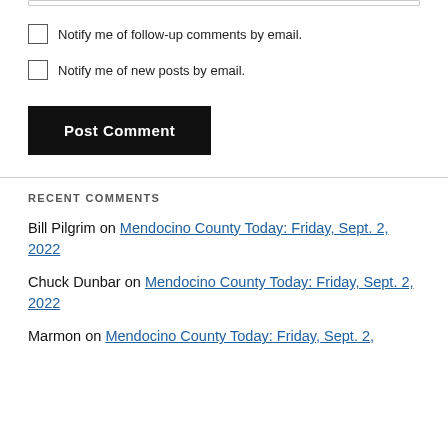Notify me of follow-up comments by email.
Notify me of new posts by email.
Post Comment
RECENT COMMENTS
Bill Pilgrim on Mendocino County Today: Friday, Sept. 2, 2022
Chuck Dunbar on Mendocino County Today: Friday, Sept. 2, 2022
Marmon on Mendocino County Today: Friday, Sept. 2,